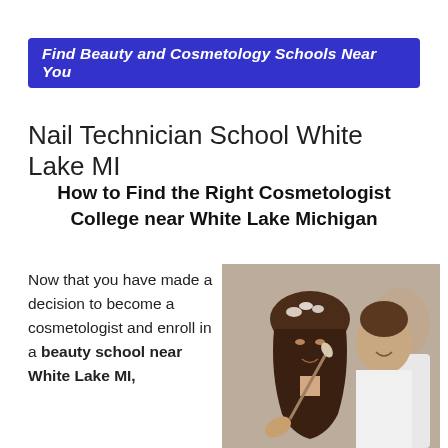Find Beauty and Cosmetology Schools Near You
Nail Technician School White Lake MI
How to Find the Right Cosmetologist College near White Lake Michigan
Now that you have made a decision to become a cosmetologist and enroll in a beauty school near White Lake MI,
[Figure (photo): A cosmetologist applying makeup with a brush to a young woman wearing a floral headpiece, with another woman smiling in the background.]